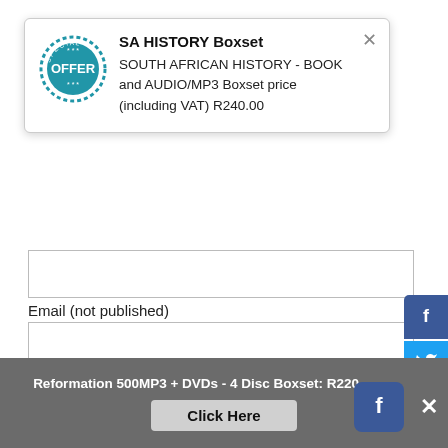[Figure (screenshot): Popup overlay showing SA HISTORY Boxset special offer with a circular blue stamp logo marked OFFER, title SA HISTORY Boxset, and text: SOUTH AFRICAN HISTORY - BOOK and AUDIO/MP3 Boxset price (including VAT) R240.00. An X close button is at top right of popup.]
Email (not published)
Website
Comments (required)
[Figure (infographic): Vertical social sharing button bar on the right edge: Facebook (dark blue), Twitter (light blue), WhatsApp (green), Messenger (blue), Google+ (red-orange), Pinterest (dark red), More (grey with ...).]
Reformation 500MP3 + DVDs - 4 Disc Boxset: R220.
Click Here